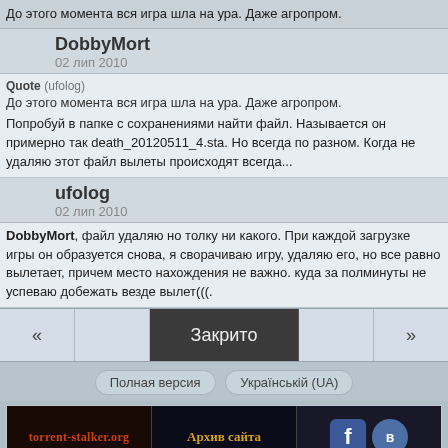До этого момента вся игра шла на ура. Даже агропром.
DobbyMort
02 лип 2010
Quote (ufolog)
До этого момента вся игра шла на ура. Даже агропром.
Попробуй в папке с сохранениями найти файл. Называется он примерно так death_20120511_4.sta. Но всегда по разном. Когда не удаляю этот файл вылеты происходят всегда...
ufolog
02 лип 2010
DobbyMort, файл удаляю но толку ни какого. При каждой загрузке игры он образуется снова, я сворачиваю игру, удаляю его, но все равно вылетает, причем место нахождения не важно. куда за полминуты не успеваю добежать везде вылет(((.
«   Закрито   »
Полная версия   Українській (UA)
[Figure (screenshot): Banner row with torrent-stalker.org, Архив сайта, Facebook and VK social icons]
[Figure (screenshot): LiveInternet stats counter with logo and statistics numbers 326, 12, 163, 6, 8]